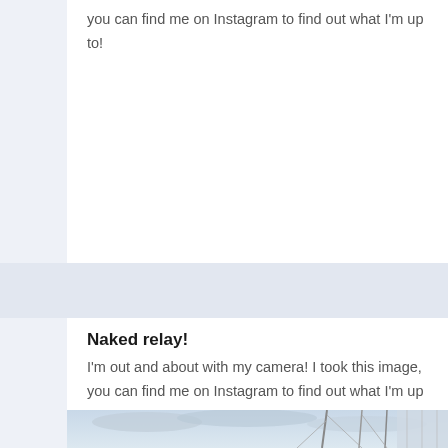you can find me on Instagram to find out what I'm up to!
Naked relay!
I'm out and about with my camera! I took this image, you can find me on Instagram to find out what I'm up to!
[Figure (photo): Outdoor photograph showing sailboat masts against a cloudy sky, partially visible at the bottom of the page.]